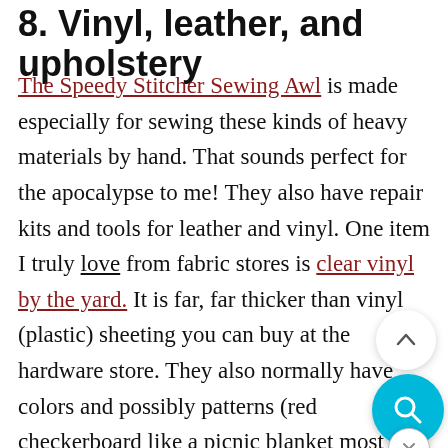8. Vinyl, leather, and upholstery
The Speedy Stitcher Sewing Awl is made especially for sewing these kinds of heavy materials by hand. That sounds perfect for the apocalypse to me! They also have repair kits and tools for leather and vinyl. One item I truly love from fabric stores is clear vinyl by the yard. It is far, far thicker than vinyl (plastic) sheeting you can buy at the hardware store. They also normally have colors and possibly patterns (red checkerboard like a picnic blanket most commonly) as well. You really should buy at least a few yards. Clear vinyl could have so many uses, such as replacing broken windows or glass panels.